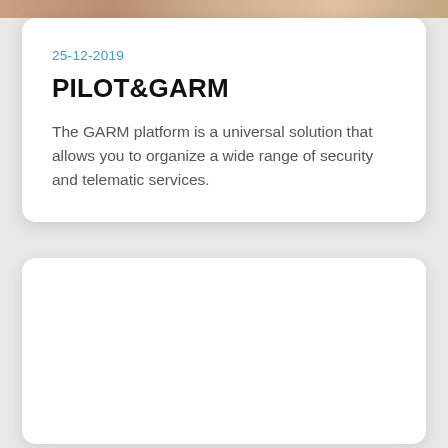25-12-2019
PILOT&GARM
The GARM platform is a universal solution that allows you to organize a wide range of security and telematic services.